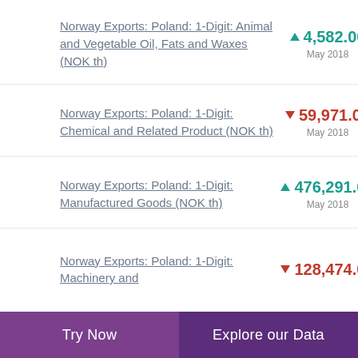Norway Exports: Poland: 1-Digit: Animal and Vegetable Oil, Fats and Waxes (NOK th)
Norway Exports: Poland: 1-Digit: Chemical and Related Product (NOK th)
Norway Exports: Poland: 1-Digit: Manufactured Goods (NOK th)
Norway Exports: Poland: 1-Digit: Machinery and
Try Now | Explore our Data